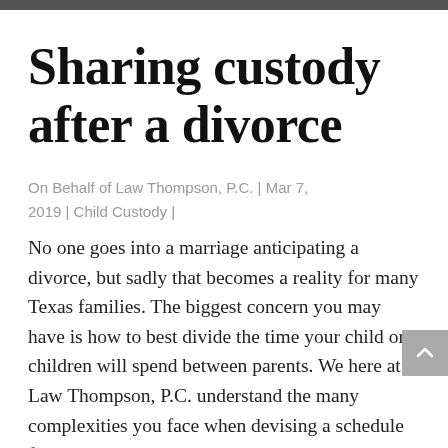Sharing custody after a divorce
On Behalf of Law Thompson, P.C. | Mar 7, 2019 | Child Custody |
No one goes into a marriage anticipating a divorce, but sadly that becomes a reality for many Texas families. The biggest concern you may have is how to best divide the time your child or children will spend between parents. We here at Law Thompson, P.C. understand the many complexities you face when devising a schedule for child custody.